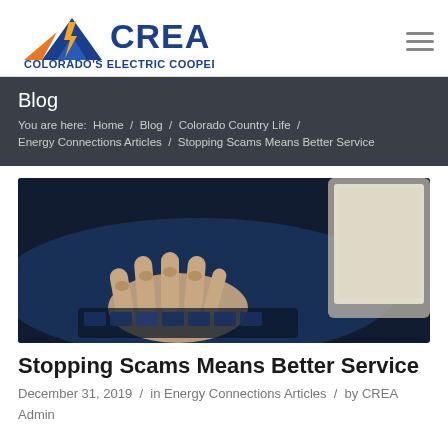[Figure (logo): CREA Colorado's Electric Cooperatives logo with mountain and lightning bolt icon in blue, orange and yellow]
Blog
You are here: Home / Blog / Colorado Country Life / Energy Connections Articles / Stopping Scams Means Better Service
[Figure (photo): Close-up photo of hands typing on a keyboard in a dark blue-toned setting]
Stopping Scams Means Better Service
December 31, 2019 / in Energy Connections Articles / by CREA Admin